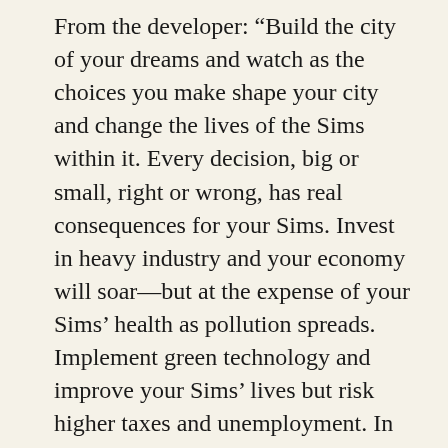From the developer: “Build the city of your dreams and watch as the choices you make shape your city and change the lives of the Sims within it. Every decision, big or small, right or wrong, has real consequences for your Sims. Invest in heavy industry and your economy will soar—but at the expense of your Sims’ health as pollution spreads. Implement green technology and improve your Sims’ lives but risk higher taxes and unemployment. In SimCity, you’re the Mayor and how you run your city is entirely up to you!”
So tell your significant other/kids you’re doing research, and go play god for an evening or three. It doesn’t have to be the latest and greatest version either, but the knock-offs might be too dumbed down and sanitized to be useful. Although I’ve never tried it, the Societies version looks especially well-suited to this purpose, but since it. Maybe I